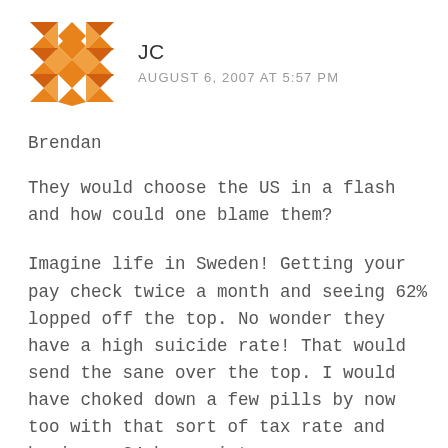[Figure (illustration): Orange geometric/diamond pattern avatar icon for user JC]
JC
AUGUST 6, 2007 AT 5:57 PM
Brendan
They would choose the US in a flash and how could one blame them?
Imagine life in Sweden! Getting your pay check twice a month and seeing 62% lopped off the top. No wonder they have a high suicide rate! That would send the sane over the top. I would have choked down a few pills by now too with that sort of tax rate and having a 24 hour winter.
Want to suicide? Go work in Sweden in the winter.